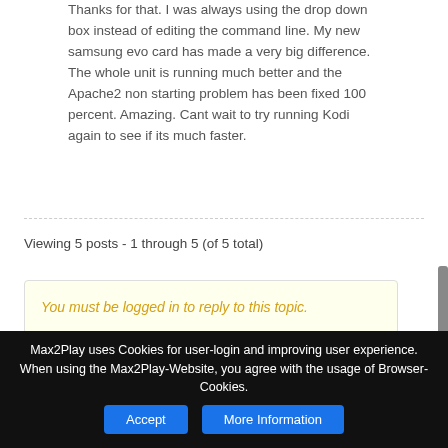Thanks for that. I was always using the drop down box instead of editing the command line. My new samsung evo card has made a very big difference. The whole unit is running much better and the Apache2 non starting problem has been fixed 100 percent. Amazing. Cant wait to try running Kodi again to see if its much faster.
Viewing 5 posts - 1 through 5 (of 5 total)
You must be logged in to reply to this topic.
Max2Play uses Cookies for user-login and improving user experience. When using the Max2Play-Website, you agree with the usage of Browser-Cookies.
Accept
More Information